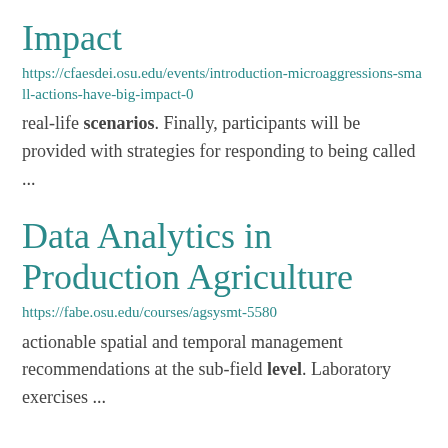Impact
https://cfaesdei.osu.edu/events/introduction-microaggressions-small-actions-have-big-impact-0
real-life scenarios. Finally, participants will be provided with strategies for responding to being called ...
Data Analytics in Production Agriculture
https://fabe.osu.edu/courses/agsysmt-5580
actionable spatial and temporal management recommendations at the sub-field level. Laboratory exercises ...